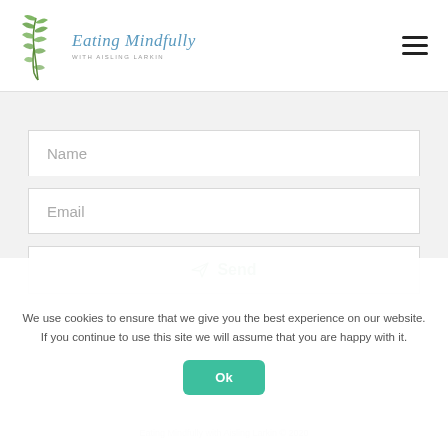[Figure (logo): Eating Mindfully logo with herb/rosemary illustration and text 'Eating Mindfully with Aisling Larkin']
Name
Email
Send
Eating Mindfully with Aisling Larkin © 2020
We use cookies to ensure that we give you the best experience on our website. If you continue to use this site we will assume that you are happy with it.
Ok